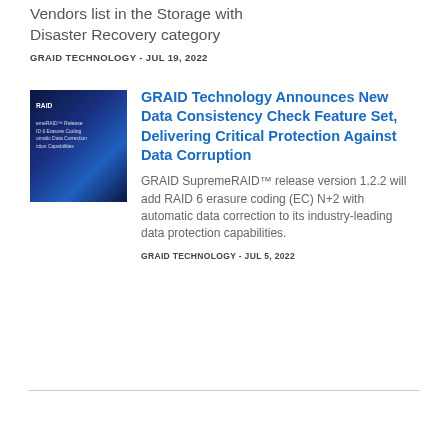Vendors list in the Storage with Disaster Recovery category
GRAID TECHNOLOGY - JUL 19, 2022
[Figure (photo): Dark blue thumbnail image with GRAID branding text listing SupremeRAID release features including RAID 6 Erasure Coding and Automatic Data Correction]
GRAID Technology Announces New Data Consistency Check Feature Set, Delivering Critical Protection Against Data Corruption
GRAID SupremeRAID™ release version 1.2.2 will add RAID 6 erasure coding (EC) N+2 with automatic data correction to its industry-leading data protection capabilities.
GRAID TECHNOLOGY - JUL 5, 2022